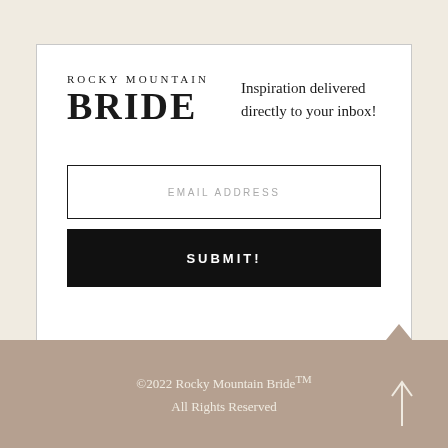[Figure (logo): Rocky Mountain Bride logo with text ROCKY MOUNTAIN in small caps above large BRIDE text]
Inspiration delivered directly to your inbox!
EMAIL ADDRESS
SUBMIT!
©2022 Rocky Mountain Bride™
All Rights Reserved